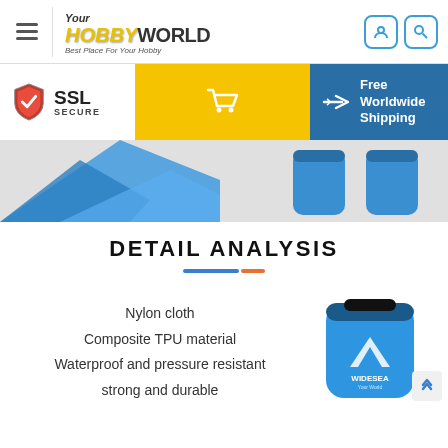Your HOBBY WORLD — Best Place For Your Hobby
[Figure (screenshot): SSL Secure badge, yellow shopping cart button, and blue Free Worldwide Shipping banner]
[Figure (photo): Blue waterproof dry bags product image strip]
DETAIL ANALYSIS
Nylon cloth
Composite TPU material
Waterproof and pressure resistant
strong and durable
[Figure (photo): Blue Widesea waterproof dry bag product photo]